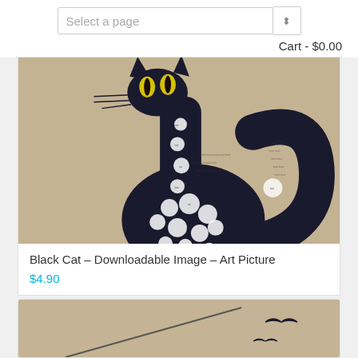Select a page  |  Cart - $0.00
[Figure (illustration): Artwork of a stylized black cat with a very long neck, yellow eyes, and white polka dots on its body, against a tan/beige background]
Black Cat – Downloadable Image – Art Picture
$4.90
[Figure (illustration): Partial view of another art piece showing birds in flight against a tan/beige background with a diagonal line]